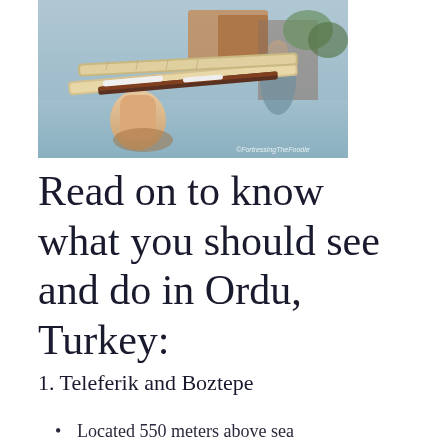[Figure (photo): A hand holding thin crispy pastry or bread sticks with filling (likely Turkish street food), outdoors with blurred market/street background. Watermark reads ©FortressingTheFoodie]
Read on to know what you should see and do in Ordu, Turkey:
1. Teleferik and Boztepe
Located 550 meters above sea